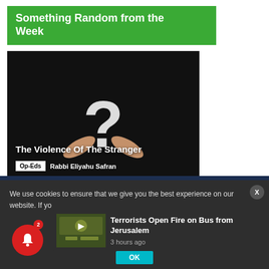Something Random from the Week
[Figure (photo): Dark background image with a person holding a large white question mark, with article title 'The Violence Of The Stranger' and Op-Eds tag and author name 'Rabbi Eliyahu Safran' overlaid at bottom]
We use cookies to ensure that we give you the best experience on our website. If yo
Terrorists Open Fire on Bus from Jerusalem
3 hours ago